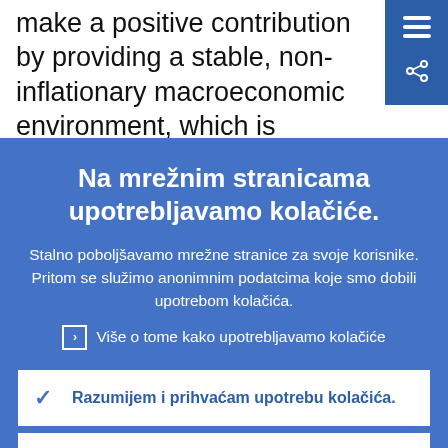make a positive contribution by providing a stable, non-inflationary macroeconomic environment, which is supportive of grow...
Na mrežnim stranicama upotrebljavamo kolačiće.
Stalno poboljšavamo mrežne stranice za svoje korisnike. Pritom se služimo anonimnim podatcima koje smo dobili upotrebom kolačića.
Više o tome kako upotrebljavamo kolačiće
Razumijem i prihvaćam upotrebu kolačića.
Ne prihvaćam upotrebu kolačića.